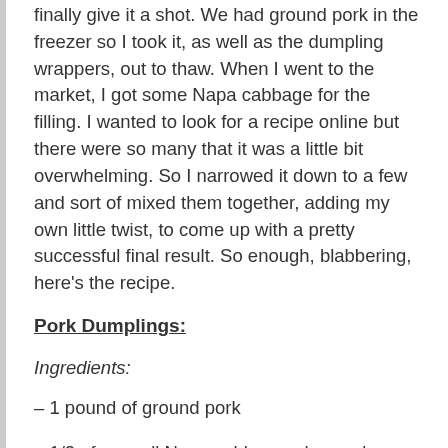finally give it a shot. We had ground pork in the freezer so I took it, as well as the dumpling wrappers, out to thaw. When I went to the market, I got some Napa cabbage for the filling. I wanted to look for a recipe online but there were so many that it was a little bit overwhelming. So I narrowed it down to a few and sort of mixed them together, adding my own little twist, to come up with a pretty successful final result. So enough, blabbering, here's the recipe.
Pork Dumplings:
Ingredients:
– 1 pound of ground pork
– 1/2 of a small Napa cabbage, chopped